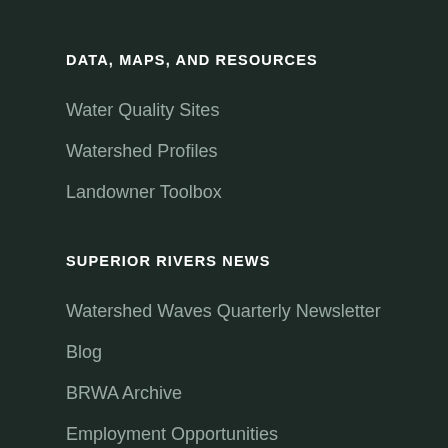DATA, MAPS, AND RESOURCES
Water Quality Sites
Watershed Profiles
Landowner Toolbox
SUPERIOR RIVERS NEWS
Watershed Waves Quarterly Newsletter
Blog
BRWA Archive
Employment Opportunities